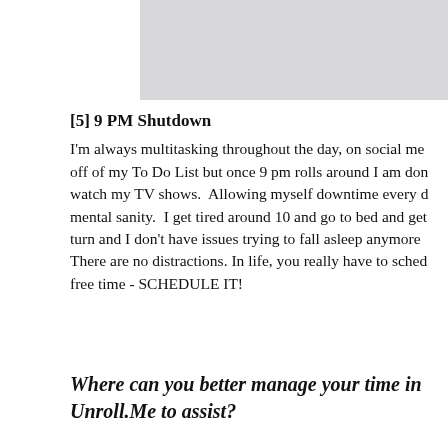[Figure (photo): Partial gray/light-colored image at top right of page]
[5] 9 PM Shutdown
I'm always multitasking throughout the day, on social me... off of my To Do List but once 9 pm rolls around I am don... watch my TV shows.  Allowing myself downtime every d... mental sanity.  I get tired around 10 and go to bed and get... turn and I don't have issues trying to fall asleep anymore... There are no distractions. In life, you really have to sched... free time - SCHEDULE IT!
Where can you better manage your time in... Unroll.Me to assist?